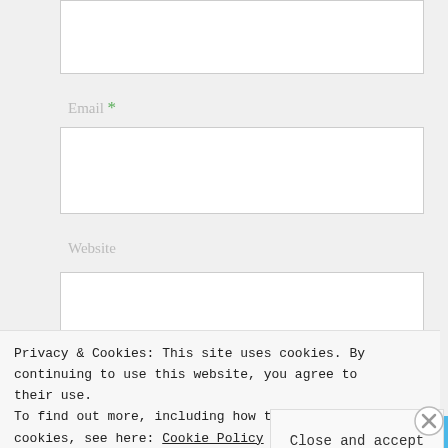[Figure (screenshot): Partial top input field (white rectangle, top of the page, cut off)]
Email *
[Figure (screenshot): Email input field (white rectangle)]
Website
[Figure (screenshot): Website input field (white rectangle)]
Post Comment
Privacy & Cookies: This site uses cookies. By continuing to use this website, you agree to their use.
To find out more, including how to control cookies, see here: Cookie Policy
Close and accept
[Figure (screenshot): Blue banner at the bottom with partial text and icons visible]